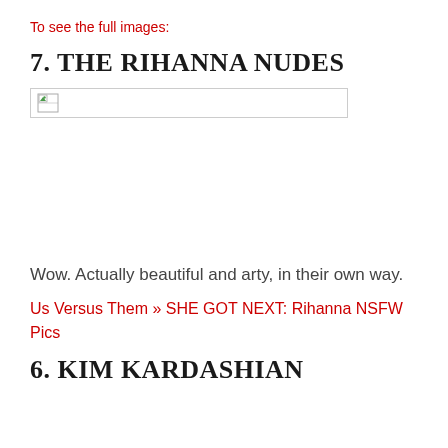To see the full images:
7. THE RIHANNA NUDES
[Figure (photo): Broken image placeholder box with broken image icon in top-left corner]
Wow. Actually beautiful and arty, in their own way.
Us Versus Them » SHE GOT NEXT: Rihanna NSFW Pics
6. KIM KARDASHIAN